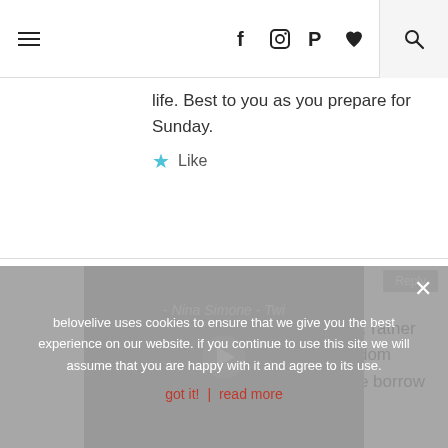Navigation bar with hamburger menu, social icons (f, instagram, pinterest, heart), and search
life. Best to you as you prepare for Sunday.
Like
CARRLYBETH'S BLOG
24 Aug 2012 at 21:33
sending you good vibes, Liz. rather than draw from my own wisdom pertaining to freedom, let me borrow someone else's:
belovelive uses cookies to ensure that we give you the best experience on our website. if you continue to use this site we will assume that you are happy with it and agree to its use.
got it!  read more
[Figure (screenshot): Video thumbnail showing Nina Simone - Twi with play button overlay]